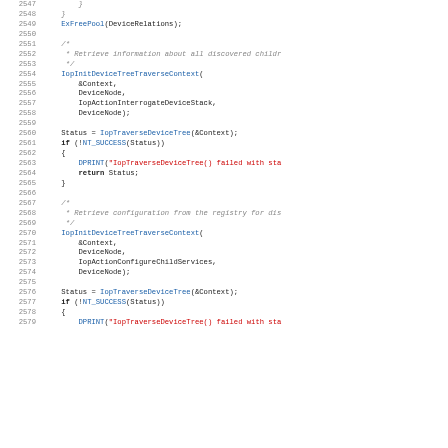Source code listing, lines 2547-2579, showing C code with IopInitDeviceTreeTraverseContext calls, IopTraverseDeviceTree calls, and NT_SUCCESS checks.